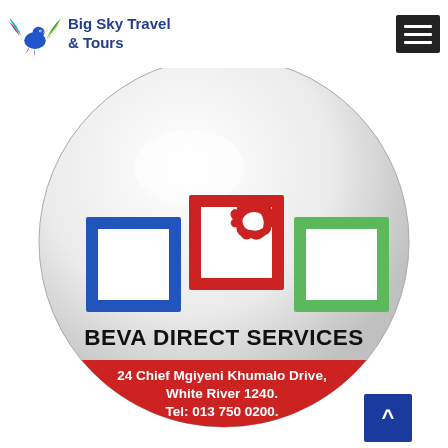Big Sky Travel & Tours
[Figure (logo): Beva Direct Services logo inside a large glossy sphere. The logo shows three colored squares (blue, red with eagle, green) above the text BEVA DIRECT SERVICES in bold black. The bottom of the sphere has a red band with white text: '24 Chief Mgiyeni Khumalo Drive, White River 1240. Tel: 013 750 0200.']